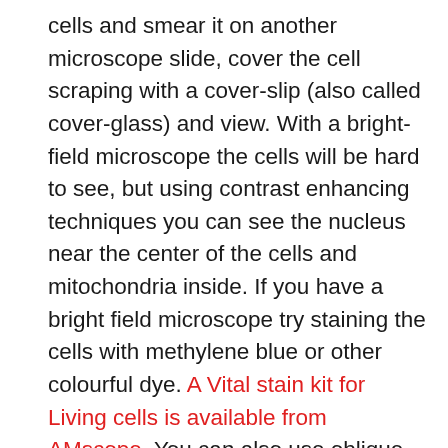cells and smear it on another microscope slide, cover the cell scraping with a cover-slip (also called cover-glass) and view. With a bright-field microscope the cells will be hard to see, but using contrast enhancing techniques you can see the nucleus near the center of the cells and mitochondria inside. If you have a bright field microscope try staining the cells with methylene blue or other colourful dye. A Vital stain kit for Living cells is available from AMscope. You can also use oblique illumination with a bright field microscope by putting the filter tray under the condenser part way in or using home made filters.